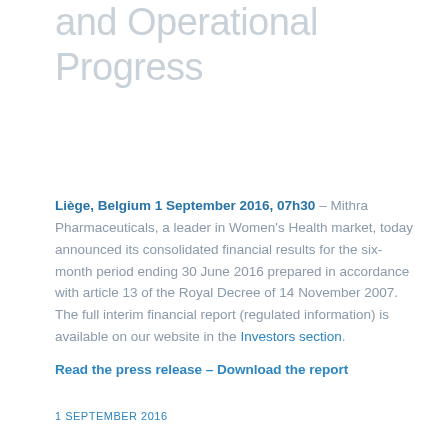and Operational Progress
Liège, Belgium 1 September 2016, 07h30 – Mithra Pharmaceuticals, a leader in Women's Health market, today announced its consolidated financial results for the six-month period ending 30 June 2016 prepared in accordance with article 13 of the Royal Decree of 14 November 2007. The full interim financial report (regulated information) is available on our website in the Investors section.
Read the press release – Download the report
1 SEPTEMBER 2016